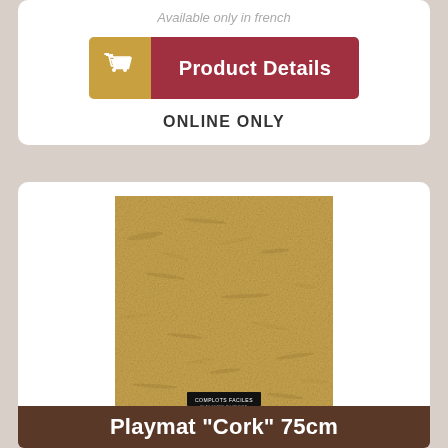Available only in french
[Figure (screenshot): Product Details button with shopping cart icon on the left (gold/yellow background) and 'Product Details' text on the right (dark red background)]
ONLINE ONLY
[Figure (photo): Cork texture playmat product image, square, tan/beige speckled surface with a small brand label at the bottom center reading 'COMPLOTS FACILES']
Playmat "Cork" 75cm